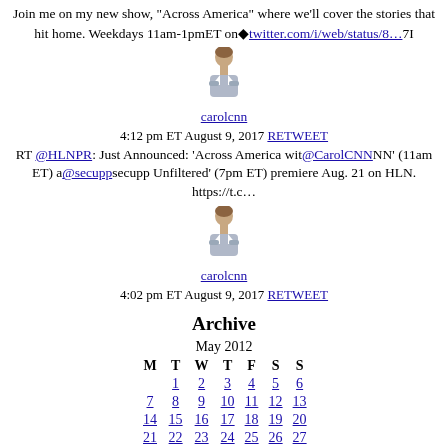Join me on my new show, "Across America" where we'll cover the stories that hit home. Weekdays 11am-1pmET on◆twitter.com/i/web/status/8…7I
[Figure (illustration): Avatar illustration of a woman in a gray suit]
carolcnn
4:12 pm ET August 9, 2017 RETWEET
RT @HLNPR: Just Announced: ‘Across America wit@CarolCNNNN’ (11am ET) a@secuppsecupp Unfiltered’ (7pm ET) premiere Aug. 21 on HLN. https://t.c…
[Figure (illustration): Avatar illustration of a woman in a gray suit]
carolcnn
4:02 pm ET August 9, 2017 RETWEET
Archive
| M | T | W | T | F | S | S |
| --- | --- | --- | --- | --- | --- | --- |
|  | 1 | 2 | 3 | 4 | 5 | 6 |
| 7 | 8 | 9 | 10 | 11 | 12 | 13 |
| 14 | 15 | 16 | 17 | 18 | 19 | 20 |
| 21 | 22 | 23 | 24 | 25 | 26 | 27 |
| 28 | 29 | 30 | 31 |  |  |  |